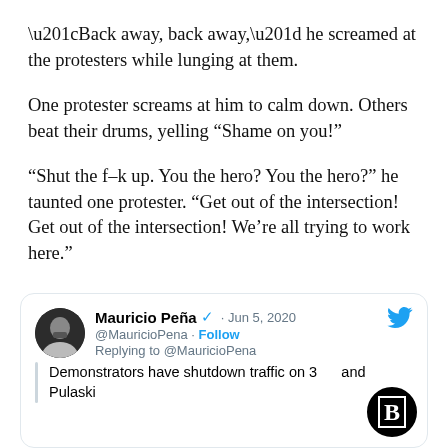“Back away, back away,” he screamed at the protesters while lunging at them.
One protester screams at him to calm down. Others beat their drums, yelling “Shame on you!”
“Shut the f–k up. You the hero? You the hero?” he taunted one protester. “Get out of the intersection! Get out of the intersection! We’re all trying to work here.”
[Figure (screenshot): Embedded tweet by Mauricio Peña (@MauricioPena), dated Jun 5, 2020, replying to @MauricioPena. Text: 'Demonstrators have shutdown traffic on 3[...] and Pulaski'. Includes verified badge, Follow link, Twitter bird icon, and Breitbart logo overlay.]